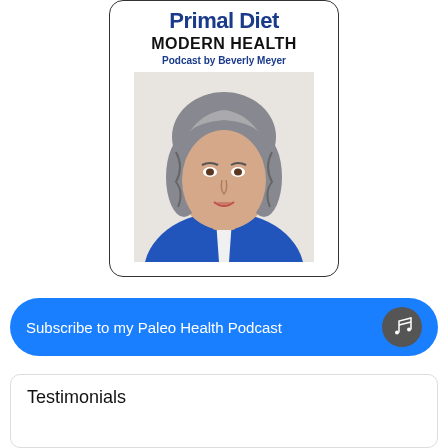[Figure (photo): Podcast card showing 'Primal Diet Modern Health Podcast by Beverly Meyer' with a photo of a woman with gray-streaked hair wearing a blue blazer, smiling]
Subscribe to my Paleo Health Podcast
Testimonials